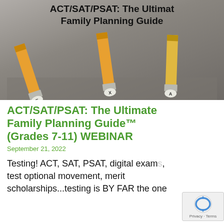[Figure (photo): Photo of three pencils with erasers showing letters E, X, A (spelling EXAM), lying on a gray surface. Overlaid text at top reads 'ACT/SAT/PSAT: The Ultimate Family Planning Guide' in bold black.]
ACT/SAT/PSAT: The Ultimate Family Planning Guide™ (Grades 7-11) WEBINAR
September 21, 2022
Testing! ACT, SAT, PSAT, digital exams, test optional movement, merit scholarships...testing is BY FAR the one